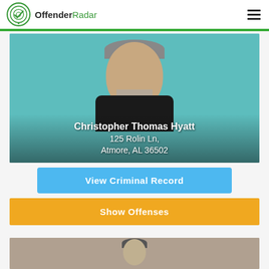OffenderRadar
[Figure (photo): Mugshot photo of Christopher Thomas Hyatt, middle-aged white male with short gray hair and gray goatee, wearing a dark shirt, against a teal background. Name and address overlaid: Christopher Thomas Hyatt, 125 Rolin Ln, Atmore, AL 36502]
View Criminal Record
Show Offenses
[Figure (photo): Partial mugshot photo of a second individual, partially visible at the bottom of the page]